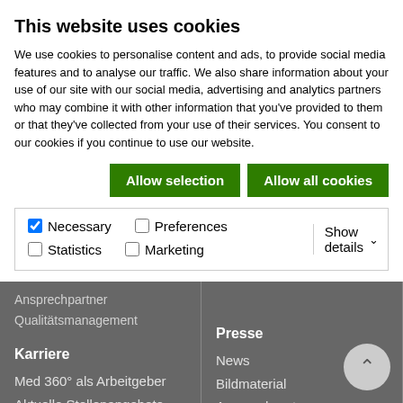This website uses cookies
We use cookies to personalise content and ads, to provide social media features and to analyse our traffic. We also share information about your use of our site with our social media, advertising and analytics partners who may combine it with other information that you've provided to them or that they've collected from your use of their services. You consent to our cookies if you continue to use our website.
Allow selection | Allow all cookies
✓ Necessary  ☐ Preferences  ☐ Statistics  ☐ Marketing  Show details ∨
Ansprechpartner Qualitätsmanagement
Karriere
Med 360° als Arbeitgeber
Aktuelle Stellenangebote
MTRA-Schule
Anerkennung ausländischer MTRA-Abschlüsse
Physiotherapie
Ausbildung
Presse
News
Bildmaterial
Ansprechpartner Presseabteilung